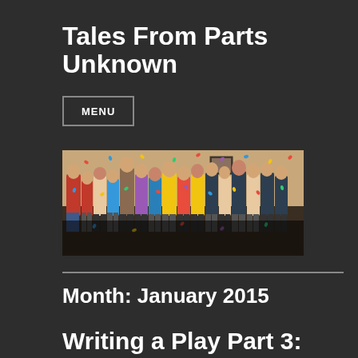Tales From Parts Unknown
MENU
[Figure (photo): Group photo of approximately 15 people standing together in a room with confetti falling, some wearing colorful shirts (red, blue, yellow)]
Month: January 2015
Writing a Play Part 3: